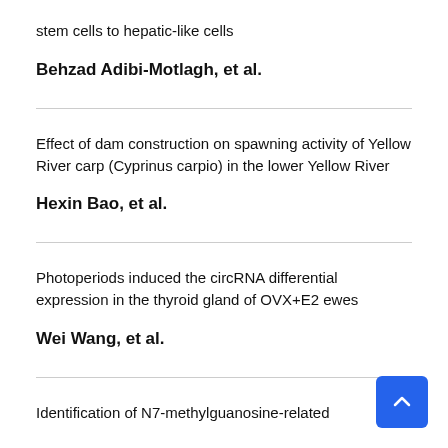stem cells to hepatic-like cells
Behzad Adibi-Motlagh, et al.
Effect of dam construction on spawning activity of Yellow River carp (Cyprinus carpio) in the lower Yellow River
Hexin Bao, et al.
Photoperiods induced the circRNA differential expression in the thyroid gland of OVX+E2 ewes
Wei Wang, et al.
Identification of N7-methylguanosine-related